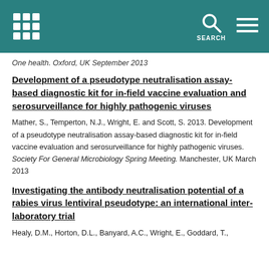One health. Oxford, UK September 2013
Development of a pseudotype neutralisation assay-based diagnostic kit for in-field vaccine evaluation and serosurveillance for highly pathogenic viruses
Mather, S., Temperton, N.J., Wright, E. and Scott, S. 2013. Development of a pseudotype neutralisation assay-based diagnostic kit for in-field vaccine evaluation and serosurveillance for highly pathogenic viruses. Society For General Microbiology Spring Meeting. Manchester, UK March 2013
Investigating the antibody neutralisation potential of a rabies virus lentiviral pseudotype: an international inter-laboratory trial
Healy, D.M., Horton, D.L., Banyard, A.C., Wright, E., Goddard, T.,